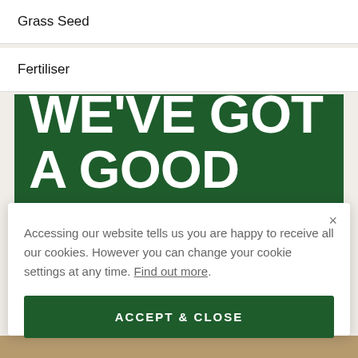Grass Seed
Fertiliser
[Figure (illustration): Dark green promotional banner with large bold white uppercase text reading 'WE'VE GOT A GOOD THING']
× Accessing our website tells us you are happy to receive all our cookies. However you can change your cookie settings at any time. Find out more.
ACCEPT & CLOSE